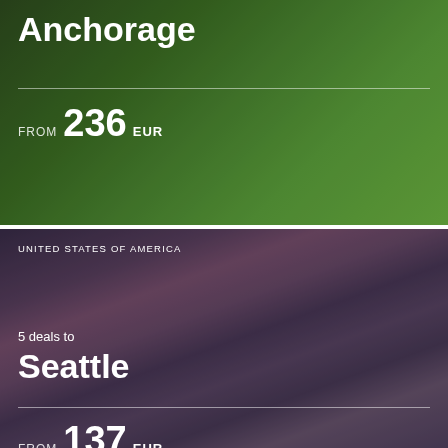[Figure (photo): Anchorage travel deal card with forest/mountain background, showing city name and price from 236 EUR]
[Figure (photo): Seattle travel deal card with purple twilight skyline showing Space Needle, 5 deals listed, from 137 EUR]
[Figure (photo): Partial travel deal card for United States of America, nighttime city skyline]
Learn more about Privacy Policy (also with reference to personal data - GDPR) - here.
Accept